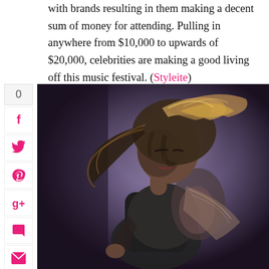with brands resulting in them making a decent sum of money for attending. Pulling in anywhere from $10,000 to upwards of $20,000, celebrities are making a good living off this music festival. (Styleite)
[Figure (photo): Woman with flowing blonde hair wearing a floral/patterned dress, photographed in a dramatic pose against a dark background with purple/blue gradient lighting.]